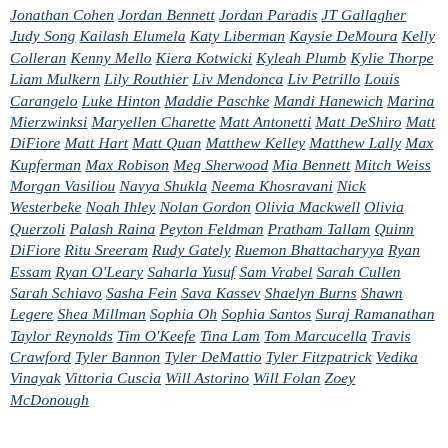Jonathan Cohen Jordan Bennett Jordan Paradis JT Gallagher Judy Song Kailash Elumela Katy Liberman Kaysie DeMoura Kelly Colleran Kenny Mello Kiera Kotwicki Kyleah Plumb Kylie Thorpe Liam Mulkern Lily Routhier Liv Mendonca Liv Petrillo Louis Carangelo Luke Hinton Maddie Paschke Mandi Hanewich Marina Mierzwinksi Maryellen Charette Matt Antonetti Matt DeShiro Matt DiFiore Matt Hart Matt Quan Matthew Kelley Matthew Lally Max Kupferman Max Robison Meg Sherwood Mia Bennett Mitch Weiss Morgan Vasiliou Navya Shukla Neema Khosravani Nick Westerbeke Noah Ihley Nolan Gordon Olivia Mackwell Olivia Querzoli Palash Raina Peyton Feldman Pratham Tallam Quinn DiFiore Ritu Sreeram Rudy Gately Ruemon Bhattacharyya Ryan Essam Ryan O'Leary Saharla Yusuf Sam Vrabel Sarah Cullen Sarah Schiavo Sasha Fein Sava Kassev Shaelyn Burns Shawn Legere Shea Millman Sophia Oh Sophia Santos Suraj Ramanathan Taylor Reynolds Tim O'Keefe Tina Lam Tom Marcucella Travis Crawford Tyler Bannon Tyler DeMattio Tyler Fitzpatrick Vedika Vinayak Vittoria Cuscia Will Astorino Will Folan Zoey McDonough